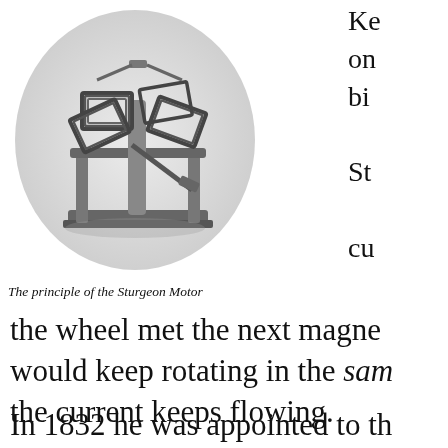[Figure (photo): Black and white illustration of the Sturgeon Motor, showing a rotating wheel-like electromagnetic device with rectangular magnet frames arranged around a central hub.]
The principle of the Sturgeon Motor
Ke on bi St cu the wheel met the next magne would keep rotating in the same the current keeps flowing.
In 1832 he was appointed to th